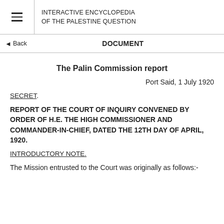INTERACTIVE ENCYCLOPEDIA OF THE PALESTINE QUESTION
◄ Back   DOCUMENT
The Palin Commission report
Port Said, 1 July 1920
SECRET.
REPORT OF THE COURT OF INQUIRY CONVENED BY ORDER OF H.E. THE HIGH COMMISSIONER AND COMMANDER-IN-CHIEF, DATED THE 12TH DAY OF APRIL, 1920.
INTRODUCTORY NOTE.
The Mission entrusted to the Court was originally as follows:-